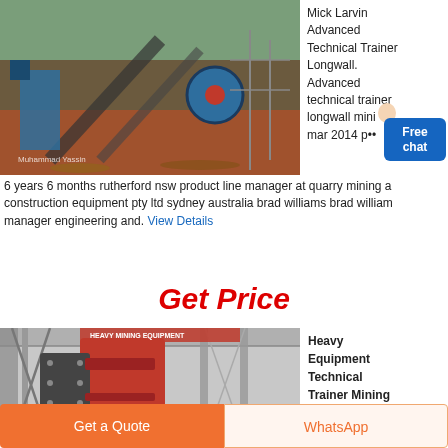[Figure (photo): Outdoor mining/quarry site with conveyor belts, heavy machinery, and red earth. Watermark reads 'Muhammad Yassin'.]
Mick Larvin Advanced Technical Trainer Longwall. Advanced technical trainer longwall mining mar 2014 present it
6 years 6 months rutherford nsw product line manager at quarry mining a construction equipment pty ltd sydney australia brad williams brad william manager engineering and. View Details
Get Price
[Figure (photo): Indoor heavy industrial machinery — large red and grey crusher/equipment inside a factory/warehouse.]
Heavy Equipment Technical Trainer Mining Heavy Equipment
Get a Quote
WhatsApp